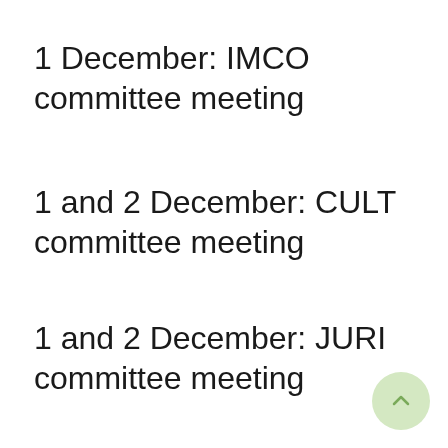1 December: IMCO committee meeting
1 and 2 December: CULT committee meeting
1 and 2 December: JURI committee meeting